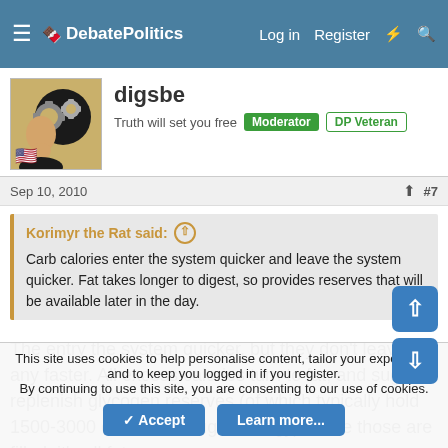DebatePolitics — Log in  Register
digsbe
Truth will set you free  Moderator  DP Veteran
Sep 10, 2010  #7
Korimyr the Rat said:
Carb calories enter the system quicker and leave the system quicker. Fat takes longer to digest, so provides reserves that will be available later in the day.
The entry the system quicker, but they don't leave any faster. All excess calories turn to fat, and sugars replenish glycogen reserves (of which typically hold 1500-3000 calories of sugar energy). Once those are filled, it's all fat.
This site uses cookies to help personalise content, tailor your experience and to keep you logged in if you register.
By continuing to use this site, you are consenting to our use of cookies.
Accept  Learn more...